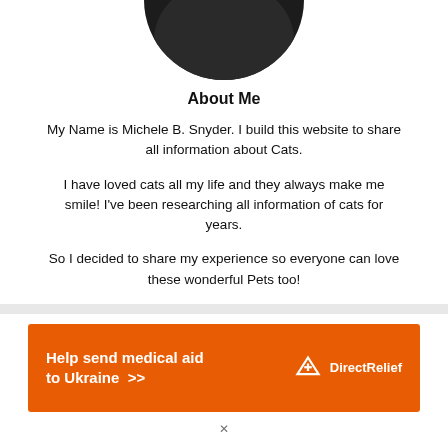[Figure (photo): Circular profile photo of a person, cropped at top — only the bottom arc of the circle is visible showing dark hair/clothing]
About Me
My Name is Michele B. Snyder. I build this website to share all information about Cats.
I have loved cats all my life and they always make me smile! I've been researching all information of cats for years.
So I decided to share my experience so everyone can love these wonderful Pets too!
[Figure (infographic): Orange advertisement banner reading 'Help send medical aid to Ukraine >>' with Direct Relief logo on the right]